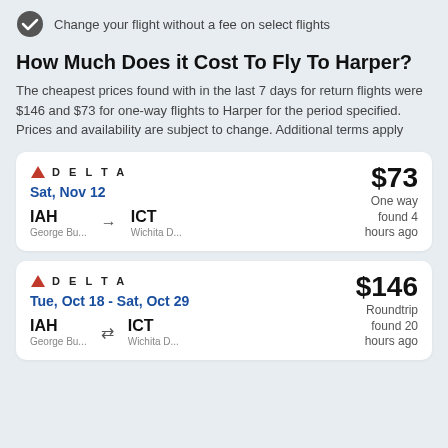Change your flight without a fee on select flights
How Much Does it Cost To Fly To Harper?
The cheapest prices found with in the last 7 days for return flights were $146 and $73 for one-way flights to Harper for the period specified. Prices and availability are subject to change. Additional terms apply
| Airline | Date | Route | Price | Type | Found |
| --- | --- | --- | --- | --- | --- |
| Delta | Sat, Nov 12 | IAH → ICT | $73 | One way | found 4 hours ago |
| Delta | Tue, Oct 18 - Sat, Oct 29 | IAH ⇄ ICT | $146 | Roundtrip | found 20 hours ago |